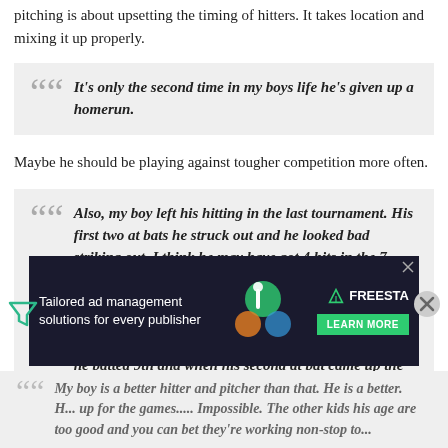pitching is about upsetting the timing of hitters. It takes location and mixing it up properly.
It's only the second time in my boys life he's given up a homerun.
Maybe he should be playing against tougher competition more often.
Also, my boy left his hitting in the last tournament. His first two at bats he struck out and he looked bad striking out. I think he may have got 4 hits in the 7 games we played. But in some games the coach either didn't let him bat or he batted 9th and they were time limit games so if you batted down in the order, and your team didn't hit then you got 2 at bats at most. One game he batted 9th and when his second at bat came up the coach pinch hit for him.
Stop making excuses. Your son didn't leave his hitting behind. He faced better pitching than he's accustomed to seeing.
[Figure (infographic): Advertisement banner: Tailored ad management solutions for every publisher - FREESTA with Learn More button]
My boy is a better hitter and pitcher than that. He is a better. H... up for the games..... Impossible. The other kids his age are too good and you can bet they're working non-stop to...